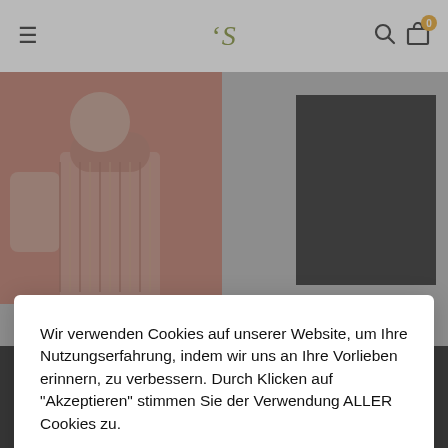[Figure (screenshot): E-commerce website header with hamburger menu, stylized 'S' logo in olive/gold color, search icon, and cart icon with badge showing 0]
[Figure (photo): Left product image: person wearing a mauve/dusty pink chunky knit sweater]
[Figure (photo): Right product image: black clothing item on white/grey background]
Wir verwenden Cookies auf unserer Website, um Ihre Nutzungserfahrung, indem wir uns an Ihre Vorlieben erinnern, zu verbessern. Durch Klicken auf "Akzeptieren" stimmen Sie der Verwendung ALLER Cookies zu.
Powered by The Retailer.